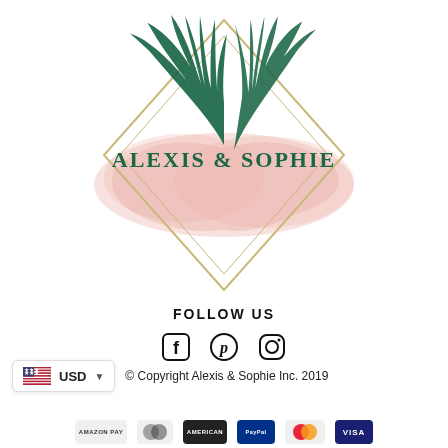[Figure (logo): Alexis & Sophie brand logo featuring two dark green palm fronds crossing, a gold diamond outline, a soft pink watercolor brush stroke background, and the text 'ALEXIS & SOPHIE' in dark green serif lettering in the center of the diamond.]
FOLLOW US
[Figure (illustration): Three social media icons in a row: Facebook (f), Pinterest (circle with p), and Instagram (camera outline), all black.]
USD  © Copyright Alexis & Sophie Inc. 2019